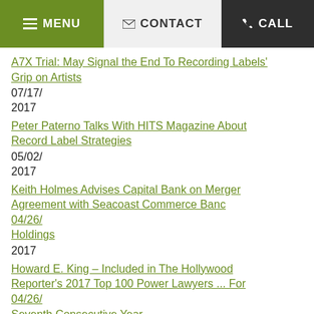MENU   CONTACT   CALL
A7X Trial: May Signal the End To Recording Labels' Grip on Artists
07/17/
2017
Peter Paterno Talks With HITS Magazine About Record Label Strategies
05/02/
2017
Keith Holmes Advises Capital Bank on Merger Agreement with Seacoast Commerce Banc Holdings
04/26/
2017
Howard E. King – Included in The Hollywood Reporter's 2017 Top 100 Power Lawyers ... For
04/26/
Seventh Consecutive Year
2017
Peter Paterno: Honored As One of The Hollywood